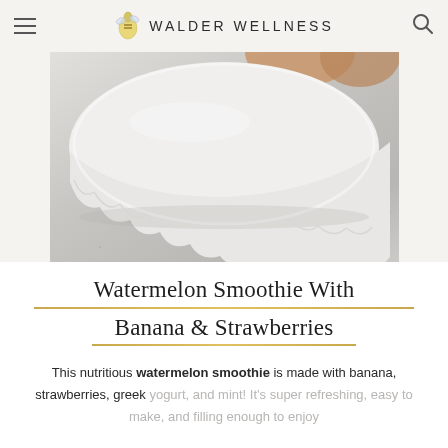WALDER WELLNESS
[Figure (photo): Close-up photo of a white scalloped ceramic dish or plate bottom resting on a light grey speckled stone surface, with warm-toned rounded objects partially visible at the top of the frame.]
Watermelon Smoothie With Banana & Strawberries
This nutritious watermelon smoothie is made with banana, strawberries, greek yogurt, and mint! It's super refreshing, easy to make, and filling enough to enjoy